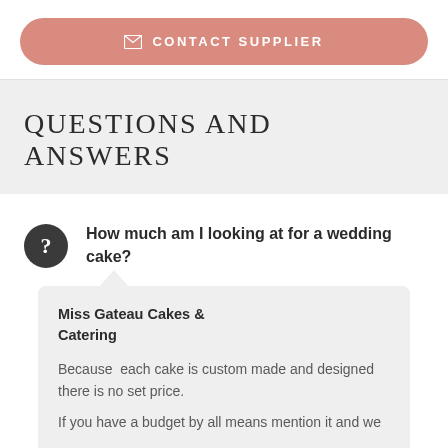[Figure (other): Contact Supplier button with envelope icon, salmon/pink rounded rectangle]
QUESTIONS AND ANSWERS
How much am I looking at for a wedding cake?
Miss Gateau Cakes & Catering

Because  each cake is custom made and designed there is no set price.

If you have a budget by all means mention it and we